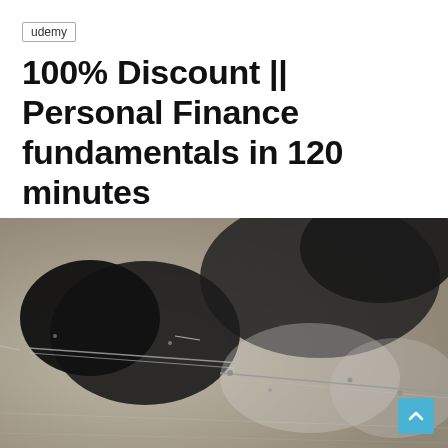udemy
100% Discount || Personal Finance fundamentals in 120 minutes
May 18, 2022
34
[Figure (photo): Black and white photograph of two pairs of rimless glasses folded and resting on a reflective surface.]